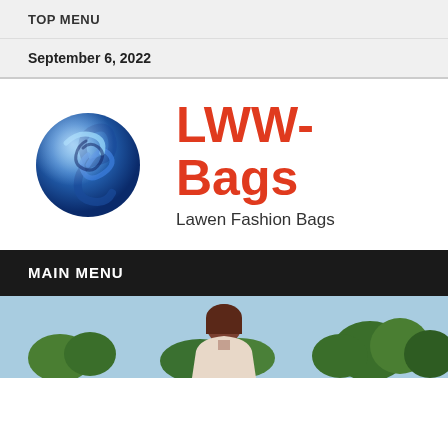TOP MENU
September 6, 2022
[Figure (logo): Blue 3D swirling globe logo for LWW-Bags]
LWW-Bags
Lawen Fashion Bags
MAIN MENU
[Figure (photo): Photo of a person seen from behind outdoors with trees and blue sky]